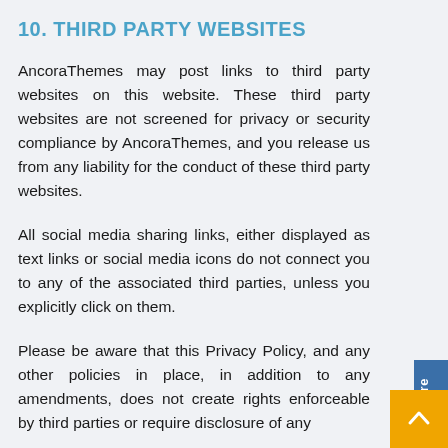10. THIRD PARTY WEBSITES
AncoraThemes may post links to third party websites on this website. These third party websites are not screened for privacy or security compliance by AncoraThemes, and you release us from any liability for the conduct of these third party websites.
All social media sharing links, either displayed as text links or social media icons do not connect you to any of the associated third parties, unless you explicitly click on them.
Please be aware that this Privacy Policy, and any other policies in place, in addition to any amendments, does not create rights enforceable by third parties or require disclosure of any